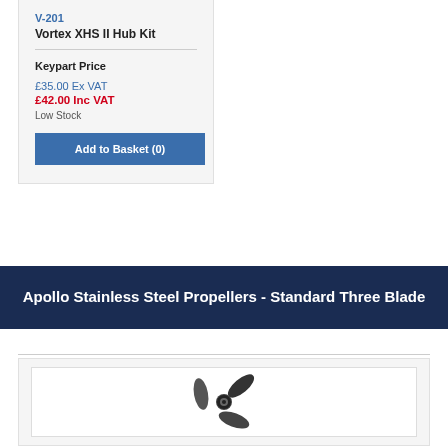V-201
Vortex XHS II Hub Kit
Keypart Price
£35.00 Ex VAT
£42.00 Inc VAT
Low Stock
Add to Basket (0)
Apollo Stainless Steel Propellers - Standard Three Blade
[Figure (photo): A stainless steel three-blade propeller shown from the front/side angle, displayed in black and white.]